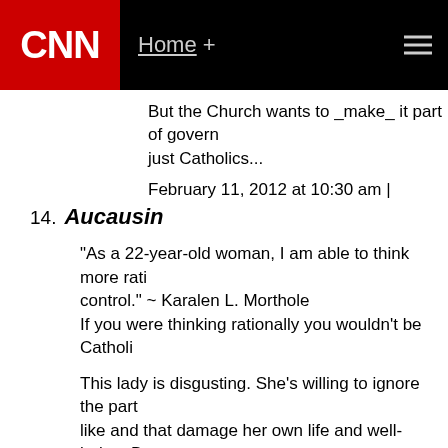CNN | Home +
But the Church wants to _make_ it part of government for more than just Catholics...

February 11, 2012 at 10:30 am |
14. Aucausin
"As a 22-year-old woman, I am able to think more rationally about birth control." ~ Karalen L. Morthole
If you were thinking rationally you wouldn't be Catholic...

This lady is disgusting. She's willing to ignore the parts of the church she doesn't like and that damage her own life and well-being. But on something like gay marriage she'll vote no cause it's immoral.

"Catholicism is a beautiful religion that supports family values, loving others and leads us to serve others a teaching I've adopted into my own living." ~ Karalen L. Morthole
I'm sure "family values" mean hate the gays and try and control women... when does tolerance mean hate? Disgusting, immoral.